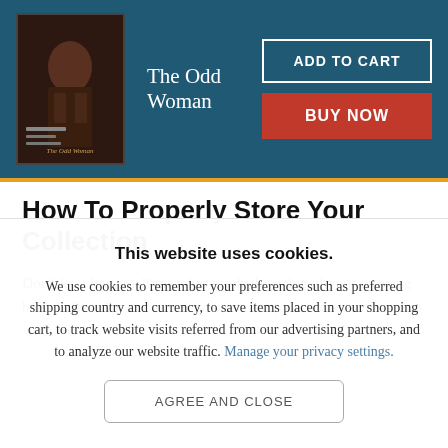The Odd Woman
How To Properly Store Your Collection
Don't let a few small mistakes erode the value of your growing book collection. Review these tips to help preserve the beauty of your books!
This website uses cookies.
We use cookies to remember your preferences such as preferred shipping country and currency, to save items placed in your shopping cart, to track website visits referred from our advertising partners, and to analyze our website traffic. Manage your privacy settings.